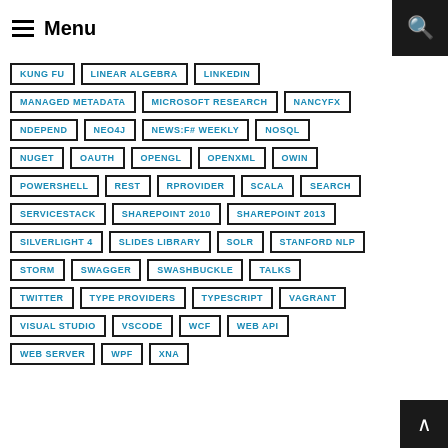Menu
KUNG FU
LINEAR ALGEBRA
LINKEDIN
MANAGED METADATA
MICROSOFT RESEARCH
NANCYFX
NDEPEND
NEO4J
NEWS:F# WEEKLY
NOSQL
NUGET
OAUTH
OPENGL
OPENXML
OWIN
POWERSHELL
REST
RPROVIDER
SCALA
SEARCH
SERVICESTACK
SHAREPOINT 2010
SHAREPOINT 2013
SILVERLIGHT 4
SLIDES LIBRARY
SOLR
STANFORD NLP
STORM
SWAGGER
SWASHBUCKLE
TALKS
TWITTER
TYPE PROVIDERS
TYPESCRIPT
VAGRANT
VISUAL STUDIO
VSCODE
WCF
WEB API
WEB SERVER
WPF
XNA